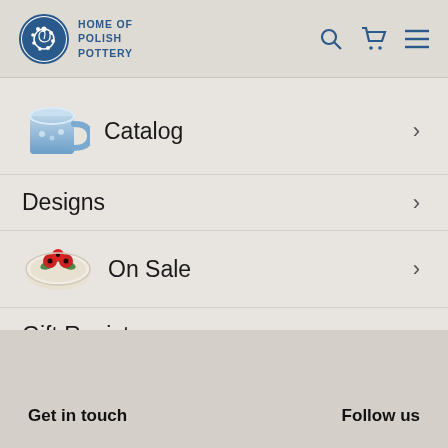[Figure (logo): Home of Polish Pottery logo with blue spiral pottery icon and text]
Catalog
Designs
On Sale
Gift Registry
Our Story
Get in touch
Follow us